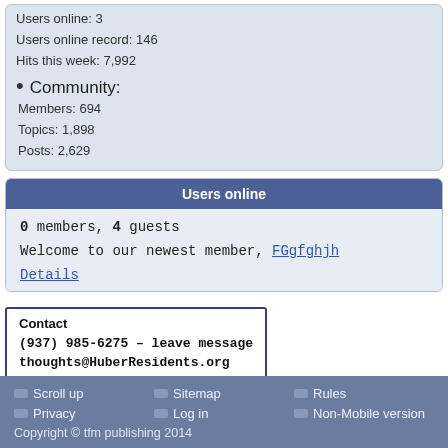Users online: 3
Users online record: 146
Hits this week: 7,992
Community:
Members: 694
Topics: 1,898
Posts: 2,629
Users online
0 members, 4 guests
Welcome to our newest member, FGgfghjh
Details
Contact
(937) 985-6275 – leave message
thoughts@HuberResidents.org
Scroll up   Sitemap   Rules   Privacy   Log in   Non-Mobile version   Copyright © tfm publishing 2014